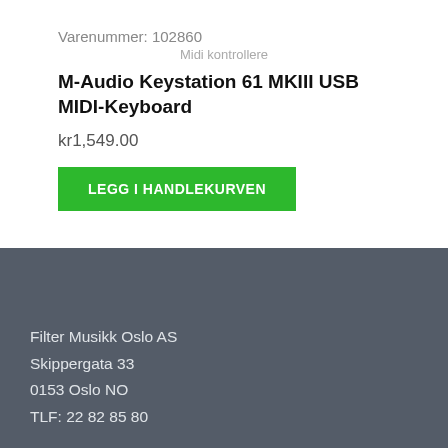Varenummer: 102860
Midi kontrollere
M-Audio Keystation 61 MKIII USB MIDI-Keyboard
kr1,549.00
LEGG I HANDLEKURVEN
Filter Musikk Oslo AS
Skippergata 33
0153 Oslo NO
TLF: 22 82 85 80